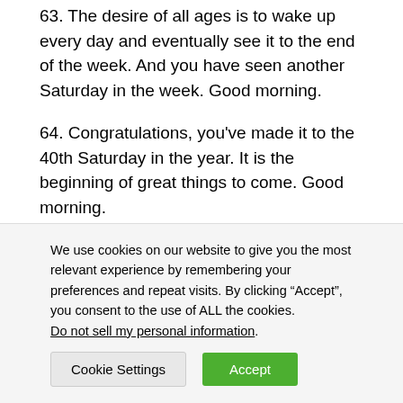63. The desire of all ages is to wake up every day and eventually see it to the end of the week. And you have seen another Saturday in the week. Good morning.
64. Congratulations, you've made it to the 40th Saturday in the year. It is the beginning of great things to come. Good morning.
65. It is the dawn of a new year, the first Saturday of the year. You wake this morning to conquer new grounds.
We use cookies on our website to give you the most relevant experience by remembering your preferences and repeat visits. By clicking “Accept”, you consent to the use of ALL the cookies. Do not sell my personal information.